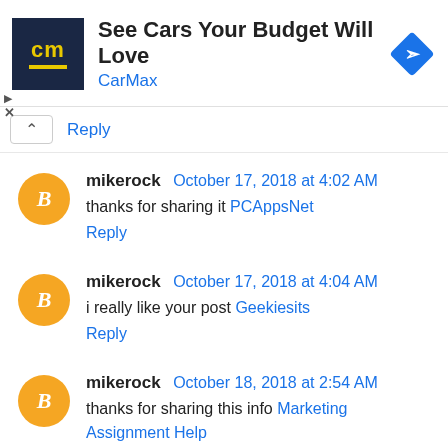[Figure (other): CarMax advertisement banner with logo showing 'cm' in yellow on dark blue background, headline 'See Cars Your Budget Will Love', brand name 'CarMax' in blue, and a blue navigation/arrow diamond icon on the right.]
Reply
mikerock October 17, 2018 at 4:02 AM
thanks for sharing it PCAppsNet
Reply
mikerock October 17, 2018 at 4:04 AM
i really like your post Geekiesits
Reply
mikerock October 18, 2018 at 2:54 AM
thanks for sharing this info Marketing Assignment Help